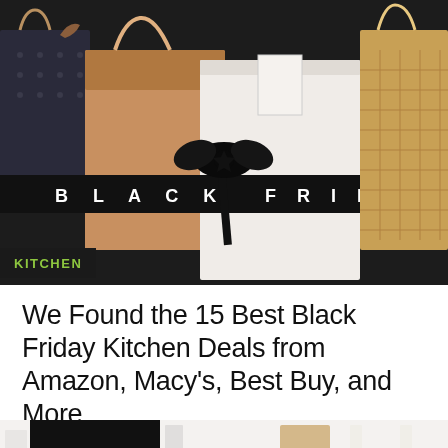[Figure (photo): Black Friday shopping bags on dark background with text 'BLACK FRIDAY' spelled across two ribbons. Mix of brown kraft, black, and white gift bags with black ribbon bow in center.]
KITCHEN
We Found the 15 Best Black Friday Kitchen Deals from Amazon, Macy's, Best Buy, and More
Black Friday deals are here, and there's no shortage of them—especially on everything for the kitchen. Maybe you've b...
9 months ago
[Figure (photo): Partial bottom image showing kitchen or home items, white and black objects, partially cropped.]